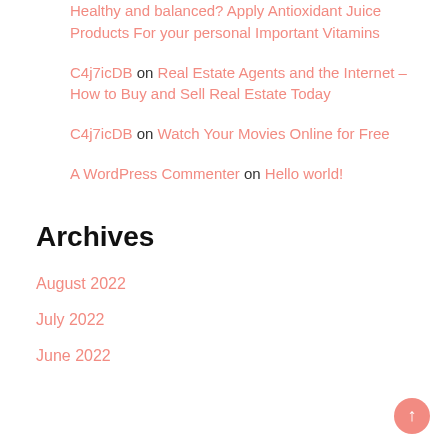Healthy and balanced? Apply Antioxidant Juice Products For your personal Important Vitamins
C4j7icDB on Real Estate Agents and the Internet – How to Buy and Sell Real Estate Today
C4j7icDB on Watch Your Movies Online for Free
A WordPress Commenter on Hello world!
Archives
August 2022
July 2022
June 2022